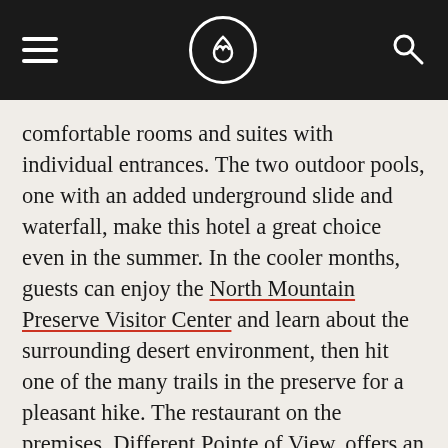[hamburger menu] [M logo] [search icon]
comfortable rooms and suites with individual entrances. The two outdoor pools, one with an added underground slide and waterfall, make this hotel a great choice even in the summer. In the cooler months, guests can enjoy the North Mountain Preserve Visitor Center and learn about the surrounding desert environment, then hit one of the many trails in the preserve for a pleasant hike. The restaurant on the premises, Different Pointe of View, offers an unforgettable culinary experience with gorgeous views of North Mountain.